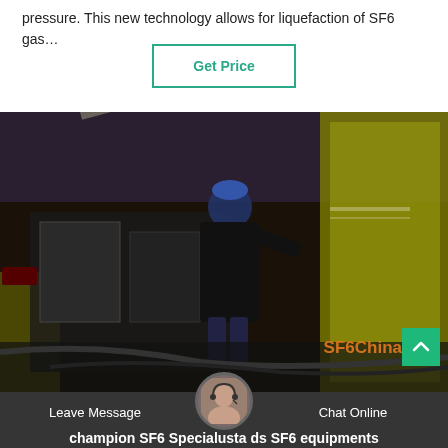pressure. This new technology allows for liquefaction of SF6 gas…
Get Price
[Figure (photo): Worker in blue hard hat working with yellow SF6 gas service equipment at night, with hoses and cables on the ground]
SF6China
Leave Message
Chat Online
champion SF6 Specialusta ds SF6 equipments